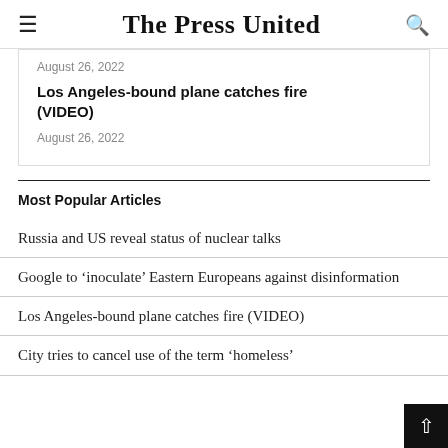The Press United
August 26, 2022
Los Angeles-bound plane catches fire (VIDEO)
August 26, 2022
Most Popular Articles
Russia and US reveal status of nuclear talks
Google to ‘inoculate’ Eastern Europeans against disinformation
Los Angeles-bound plane catches fire (VIDEO)
City tries to cancel use of the term ‘homeless’